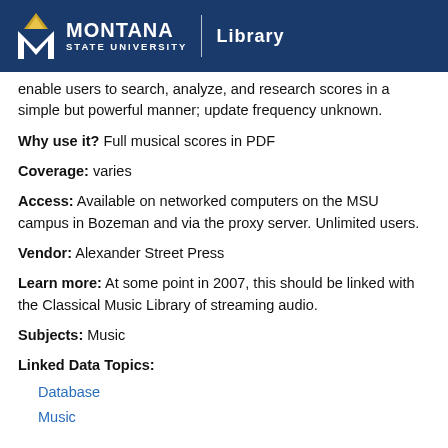Montana State University Library
enable users to search, analyze, and research scores in a simple but powerful manner; update frequency unknown.
Why use it? Full musical scores in PDF
Coverage: varies
Access: Available on networked computers on the MSU campus in Bozeman and via the proxy server. Unlimited users.
Vendor: Alexander Street Press
Learn more: At some point in 2007, this should be linked with the Classical Music Library of streaming audio.
Subjects: Music
Linked Data Topics:
Database
Music